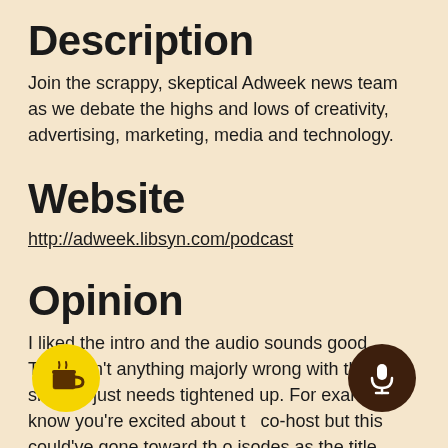Description
Join the scrappy, skeptical Adweek news team as we debate the highs and lows of creativity, advertising, marketing, media and technology.
Website
http://adweek.libsyn.com/podcast
Opinion
I liked the intro and the audio sounds good. There isn't anything majorly wrong with this show, it just needs tightened up. For example, I know you're excited about t co-host but this could've gone toward th o isodes as the title about Peleton got me k and you took four minutes to get to it. The introduction of